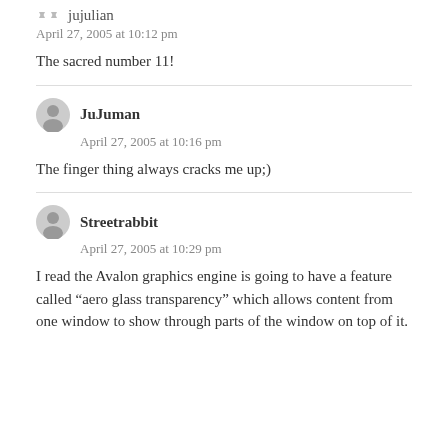jujulian — April 27, 2005 at 10:12 pm
The sacred number 11!
JuJuman — April 27, 2005 at 10:16 pm
The finger thing always cracks me up;)
Streetrabbit — April 27, 2005 at 10:29 pm
I read the Avalon graphics engine is going to have a feature called “aero glass transparency” which allows content from one window to show through parts of the window on top of it.